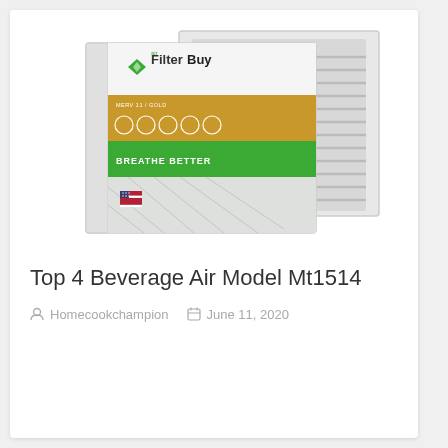[Figure (photo): Two FilterBuy air filter units stacked/overlapping, showing white frame with louvered grille on the right and a product label on the front with green diamond logo reading 'FilterBuy', gold and green colored label sections, text 'BREATHE BETTER' and small US flag icon.]
Top 4 Beverage Air Model Mt1514
Homecookchampion   June 11, 2020